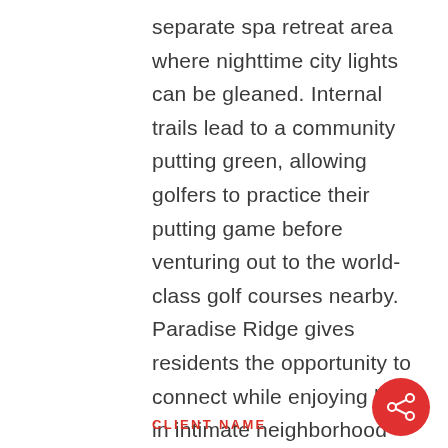separate spa retreat area where nighttime city lights can be gleaned. Internal trails lead to a community putting green, allowing golfers to practice their putting game before venturing out to the world-class golf courses nearby. Paradise Ridge gives residents the opportunity to connect while enjoying life in intimate neighborhood settings.
CLIENT NAME
[Figure (other): Red circular share button with white share icon]